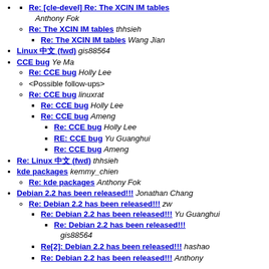Re: [cle-devel] Re: The XCIN IM tables Anthony Fok
Re: The XCIN IM tables thhsieh
Re: The XCIN IM tables Wang Jian
Linux ??? (fwd) gis88564
CCE bug Ye Ma
Re: CCE bug Holly Lee
<Possible follow-ups>
Re: CCE bug linuxrat
Re: CCE bug Holly Lee
Re: CCE bug Ameng
Re: CCE bug Holly Lee
RE: CCE bug Yu Guanghui
Re: CCE bug Ameng
Re: Linux ??? (fwd) thhsieh
kde packages kemmy_chien
Re: kde packages Anthony Fok
Debian 2.2 has been released!!! Jonathan Chang
Re: Debian 2.2 has been released!!! zw
Re: Debian 2.2 has been released!!! Yu Guanghui
Re: Debian 2.2 has been released!!! gis88564
Re[2]: Debian 2.2 has been released!!! hashao
Re: Debian 2.2 has been released!!! Anthony